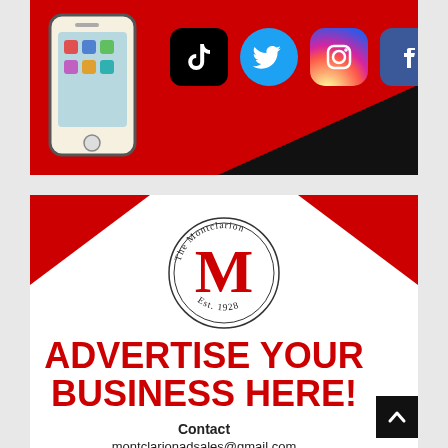[Figure (illustration): Red banner with a smartphone illustration on the left and four social media icons (TikTok, Twitter, Instagram, Facebook) on the right, with a black diagonal triangle in the bottom-right corner.]
[Figure (infographic): Advertisement for The Montclarion newspaper. Red triangles frame the top corners. In the center is The Montclarion circular logo with 'The Montclarion' text around the top, a large serif M in the center, and 'Est. 1928' at the bottom. Below the logo in large bold red text: 'ADVERTISE YOUR BUSINESS HERE!' followed by 'Contact' and 'montclarionadsales@gmail.com' in black text. A black scroll-up button is in the bottom right.]